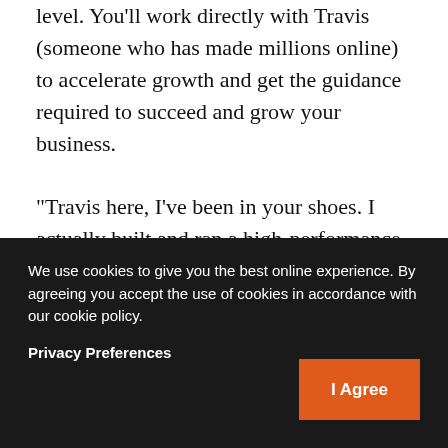level. You'll work directly with Travis (someone who has made millions online) to accelerate growth and get the guidance required to succeed and grow your business.

"Travis here, I've been in your shoes. I actually built and ran a high-performance, multi-million dollar e-commerce business and team before I started consulting (Read more about why I consult now rather than run an online store. The current e-commerce climate is increasingly competitive, in short, I provide
We use cookies to give you the best online experience. By agreeing you accept the use of cookies in accordance with our cookie policy.
Privacy Preferences
I Agree